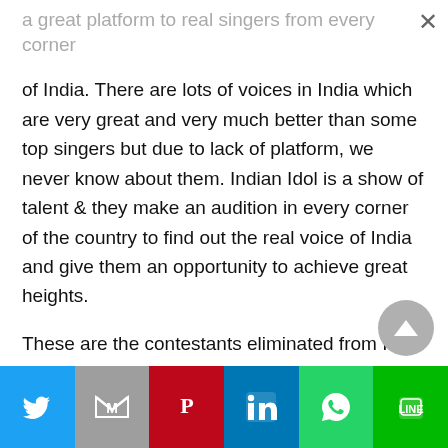a great platform to real singers from every corner of India. There are lots of voices in India which are very great and very much better than some top singers but due to lack of platform, we never know about them. Indian Idol is a show of talent & they make an audition in every corner of the country to find out the real voice of India and give them an opportunity to achieve great heights.

These are the contestants eliminated from India Idol 2021 so far,
[Figure (other): Social media share buttons bar at bottom: Twitter (blue), Gmail (grey), Pinterest (red), LinkedIn (blue), WhatsApp (green), LINE (green)]